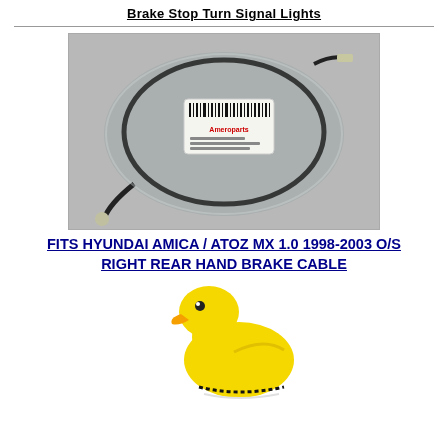Brake Stop Turn Signal Lights
[Figure (photo): Photo of a hand brake cable in plastic packaging on a grey surface, with an Ameroparts label/barcode sticker visible.]
FITS HYUNDAI AMICA / ATOZ MX 1.0 1998-2003 O/S RIGHT REAR HAND BRAKE CABLE
[Figure (photo): Partial photo of a yellow duck-shaped item (possibly a toy or novelty gear knob cover) on a white background.]